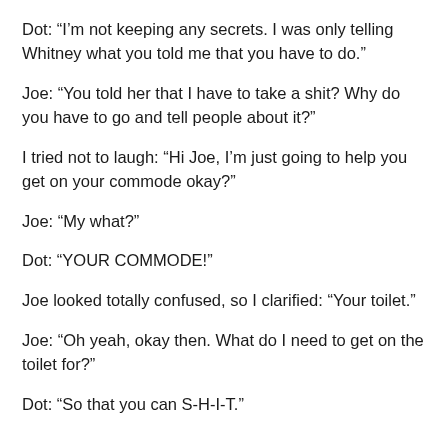Dot:  “I’m not keeping any secrets.  I was only telling Whitney what you told me that you have to do.”
Joe:  “You told her that I have to take a shit?  Why do you have to go and tell people about it?”
I tried not to laugh:  “Hi Joe, I’m just going to help you get on your commode okay?”
Joe:  “My what?”
Dot:  “YOUR COMMODE!”
Joe looked totally confused, so I clarified:  “Your toilet.”
Joe:  “Oh yeah, okay then.  What do I need to get on the toilet for?”
Dot:  “So that you can S-H-I-T.”